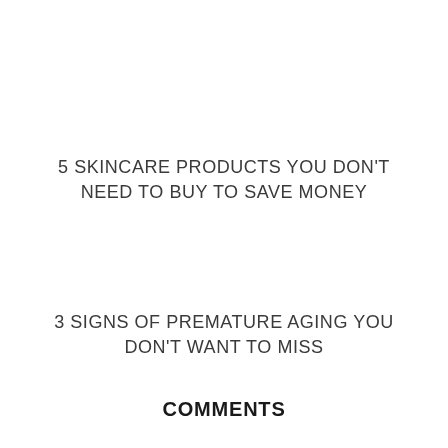5 SKINCARE PRODUCTS YOU DON'T NEED TO BUY TO SAVE MONEY
3 SIGNS OF PREMATURE AGING YOU DON'T WANT TO MISS
COMMENTS